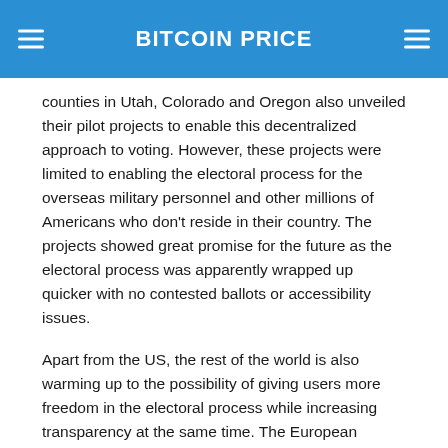BITCOIN PRICE
counties in Utah, Colorado and Oregon also unveiled their pilot projects to enable this decentralized approach to voting. However, these projects were limited to enabling the electoral process for the overseas military personnel and other millions of Americans who don't reside in their country. The projects showed great promise for the future as the electoral process was apparently wrapped up quicker with no contested ballots or accessibility issues.
Apart from the US, the rest of the world is also warming up to the possibility of giving users more freedom in the electoral process while increasing transparency at the same time. The European Parliament (EP) has also come forward and listed the advantages of blockchain technology in the voting process. According to an online EP document titled “What if blockchain technology revolutionised voting?”, the technology is very effective in ensuring free and fair elections in which everybody can participate. Rather than relying on a central database of any electoral commission to help register votes, voters can register themselves and cast their votes directly, all the while tracking their votes and holding a digital copy of their ballot, even with...